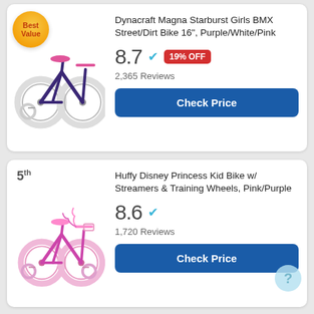[Figure (photo): Dynacraft Magna Starburst Girls BMX Street/Dirt Bike 16 inch, Purple/White/Pink, with Best Value badge]
Dynacraft Magna Starburst Girls BMX Street/Dirt Bike 16", Purple/White/Pink
8.7 ✓ 19% OFF
2,365 Reviews
Check Price
5th
[Figure (photo): Huffy Disney Princess Kid Bike with Streamers & Training Wheels, Pink/Purple]
Huffy Disney Princess Kid Bike w/ Streamers & Training Wheels, Pink/Purple
8.6 ✓
1,720 Reviews
Check Price